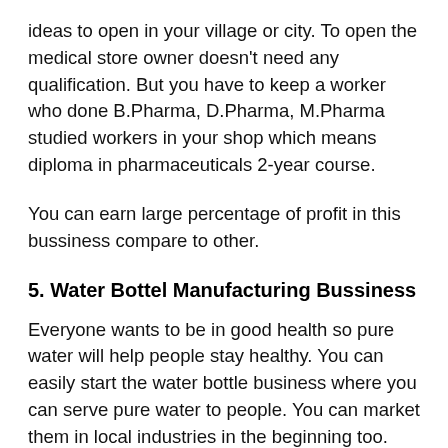ideas to open in your village or city. To open the medical store owner doesn't need any qualification. But you have to keep a worker who done B.Pharma, D.Pharma, M.Pharma studied workers in your shop which means diploma in pharmaceuticals 2-year course.
You can earn large percentage of profit in this bussiness compare to other.
5. Water Bottel Manufacturing Bussiness
Everyone wants to be in good health so pure water will help people stay healthy. You can easily start the water bottle business where you can serve pure water to people. You can market them in local industries in the beginning too.